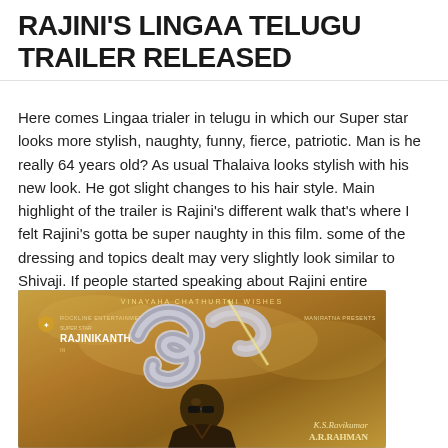RAJINI'S LINGAA TELUGU TRAILER RELEASED
Here comes Lingaa trialer in telugu in which our Super star looks more stylish, naughty, funny, fierce, patriotic. Man is he really 64 years old? As usual Thalaiva looks stylish with his new look. He got slight changes to his hair style. Main highlight of the trailer is Rajini's different walk that's where I felt Rajini's gotta be super naughty in this film. some of the dressing and topics dealt may very slightly look similar to Shivaji. If people started speaking about Rajini entire internet's memory can't be sufficed.
[Figure (photo): Movie poster for Lingaa featuring Rajinikanth in sunglasses against a golden/brown sky background, with stylized Telugu/Tamil script title logo, production credits including Rockline Entertainments, Maniratna presents, directed by K.S.Ravikumar, music by A.R.Rahman, with Vinayaha Chathurthi Wishes text at top.]